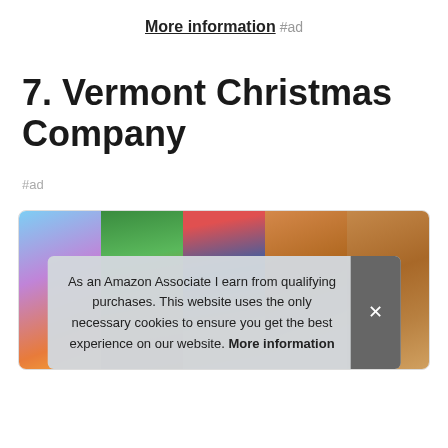More information #ad
7. Vermont Christmas Company
#ad
[Figure (photo): A collage of colorful travel/holiday photos showing buildings with flags, twilight sky, and festive street scenes]
As an Amazon Associate I earn from qualifying purchases. This website uses the only necessary cookies to ensure you get the best experience on our website. More information